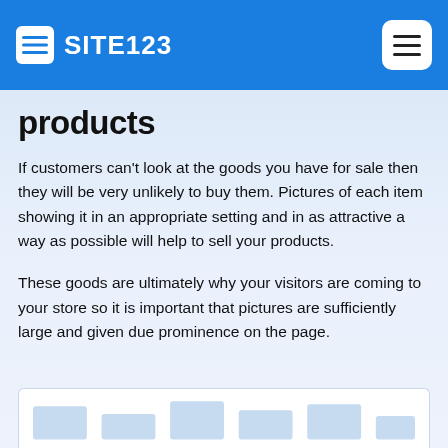SITE123
products
If customers can't look at the goods you have for sale then they will be very unlikely to buy them. Pictures of each item showing it in an appropriate setting and in as attractive a way as possible will help to sell your products.
These goods are ultimately why your visitors are coming to your store so it is important that pictures are sufficiently large and given due prominence on the page.
[Figure (screenshot): Partial screenshot of a web store page showing striped/bar chart elements at the bottom]